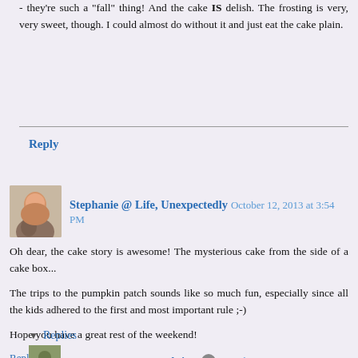- they're such a "fall" thing! And the cake IS delish. The frosting is very, very sweet, though. I could almost do without it and just eat the cake plain.
Reply
Stephanie @ Life, Unexpectedly  October 12, 2013 at 3:54 PM
Oh dear, the cake story is awesome! The mysterious cake from the side of a cake box...
The trips to the pumpkin patch sounds like so much fun, especially since all the kids adhered to the first and most important rule ;-)
Hope you have a great rest of the weekend!
Reply
Replies
Dyanne @ I Want Backsies  October 13, 2013 at